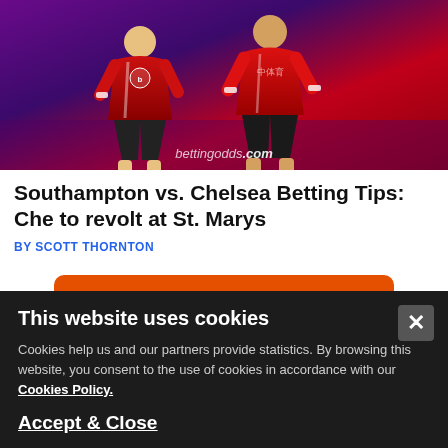[Figure (photo): Two soccer players in red jerseys in a stadium, with bettingodds.com watermark at the bottom of the image]
Southampton vs. Chelsea Betting Tips: Che to revolt at St. Marys
BY SCOTT THORNTON
[Figure (other): BET CALCULATOR orange button]
Advert Disclaimer
This website uses cookies
Cookies help us and our partners provide statistics. By browsing this website, you consent to the use of cookies in accordance with our Cookies Policy.
Accept & Close